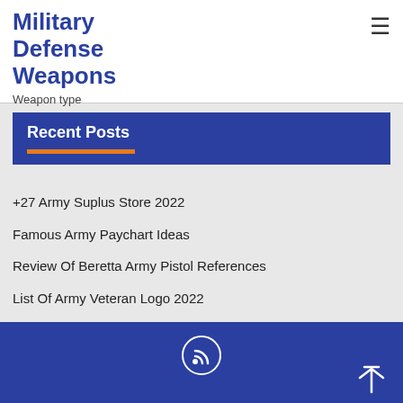Military Defense Weapons
Weapon type
Recent Posts
+27 Army Suplus Store 2022
Famous Army Paychart Ideas
Review Of Beretta Army Pistol References
List Of Army Veteran Logo 2022
Awasome Army Base Near San Antonio 2022
RSS icon and scroll to top